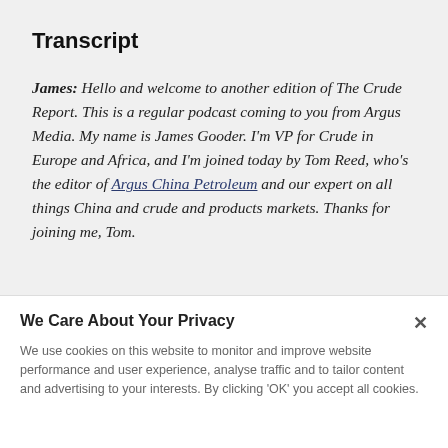Transcript
James: Hello and welcome to another edition of The Crude Report. This is a regular podcast coming to you from Argus Media. My name is James Gooder. I'm VP for Crude in Europe and Africa, and I'm joined today by Tom Reed, who's the editor of Argus China Petroleum and our expert on all things China and crude and products markets. Thanks for joining me, Tom.
We Care About Your Privacy
We use cookies on this website to monitor and improve website performance and user experience, analyse traffic and to tailor content and advertising to your interests. By clicking 'OK' you accept all cookies.